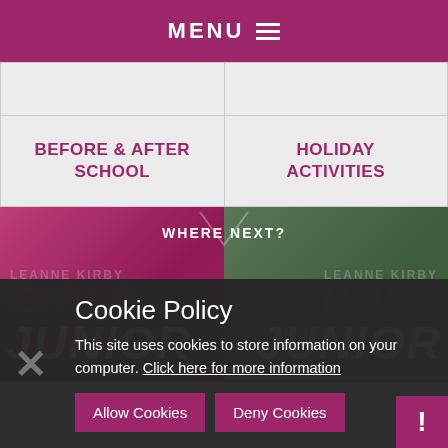MENU ≡
|  |  |
| --- | --- |
|  |  |
| BEFORE & AFTER SCHOOL | HOLIDAY ACTIVITIES |
[Figure (photo): Two-panel photo section with pink/magenta left panel showing a child, and green right panel. Chevron divider in center. Text 'WHERE NEXT?' at top center, 'JUNIOR' text large on left and right panels.]
Cookie Policy
This site uses cookies to store information on your computer. Click here for more information
Allow Cookies  Deny Cookies